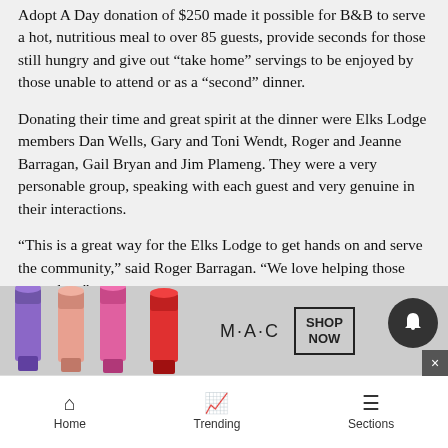Adopt A Day donation of $250 made it possible for B&B to serve a hot, nutritious meal to over 85 guests, provide seconds for those still hungry and give out “take home” servings to be enjoyed by those unable to attend or as a “second” dinner.
Donating their time and great spirit at the dinner were Elks Lodge members Dan Wells, Gary and Toni Wendt, Roger and Jeanne Barragan, Gail Bryan and Jim Plameng. They were a very personable group, speaking with each guest and very genuine in their interactions.
“This is a great way for the Elks Lodge to get hands on and serve the community,” said Roger Barragan. “We love helping those around us.”
Elks o…eet
[Figure (infographic): MAC cosmetics advertisement banner showing lipstick tubes in purple, peach/salmon, and red/pink colors, with MAC logo text and a SHOP NOW button box]
Home   Trending   Sections